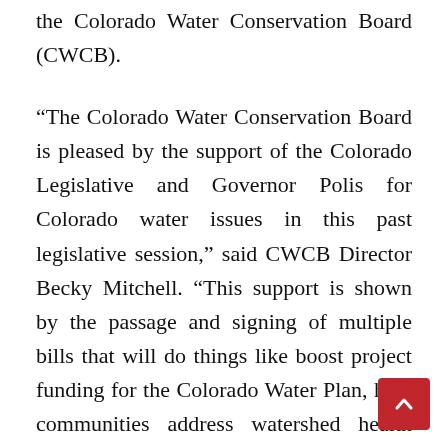the Colorado Water Conservation Board (CWCB).
“The Colorado Water Conservation Board is pleased by the support of the Colorado Legislative and Governor Polis for Colorado water issues in this past legislative session,” said CWCB Director Becky Mitchell. “This support is shown by the passage and signing of multiple bills that will do things like boost project funding for the Colorado Water Plan, help communities address watershed health issues and better prepare for